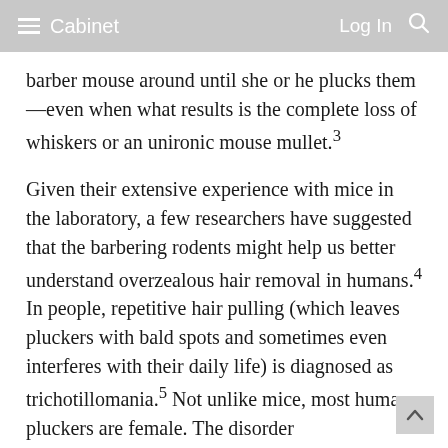≡ Cabinet    Log In 🔍
barber mouse around until she or he plucks them—even when what results is the complete loss of whiskers or an unironic mouse mullet.3
Given their extensive experience with mice in the laboratory, a few researchers have suggested that the barbering rodents might help us better understand overzealous hair removal in humans.4 In people, repetitive hair pulling (which leaves pluckers with bald spots and sometimes even interferes with their daily life) is diagnosed as trichotillomania.5 Not unlike mice, most human pluckers are female. The disorder